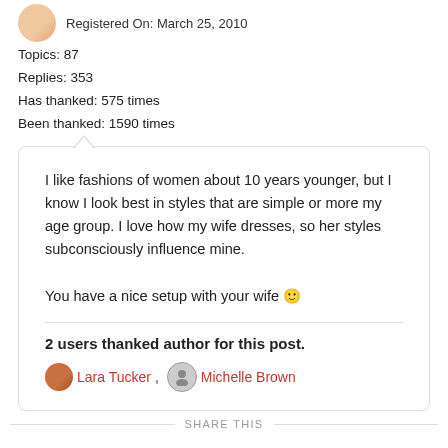Registered On: March 25, 2010
Topics: 87
Replies: 353
Has thanked: 575 times
Been thanked: 1590 times
I like fashions of women about 10 years younger, but I know I look best in styles that are simple or more my age group. I love how my wife dresses, so her styles subconsciously influence mine.

You have a nice setup with your wife 🙂
2 users thanked author for this post.
Lara Tucker, Michelle Brown
SHARE THIS